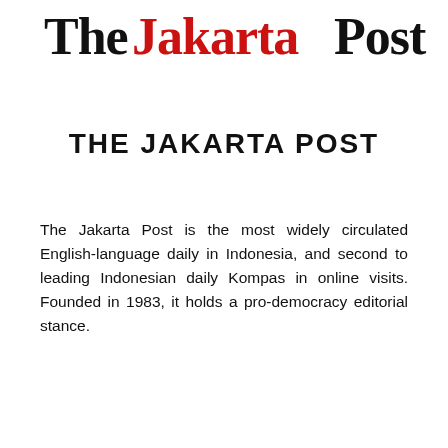[Figure (logo): The Jakarta Post newspaper logo — bold serif masthead with 'The' in black and 'Jakarta Post' in red and black mixed styling]
THE JAKARTA POST
The Jakarta Post is the most widely circulated English-language daily in Indonesia, and second to leading Indonesian daily Kompas in online visits. Founded in 1983, it holds a pro-democracy editorial stance.